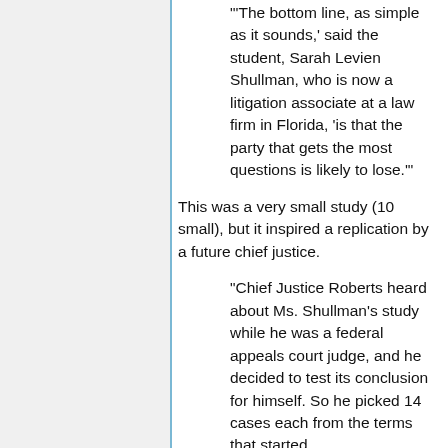'"The bottom line, as simple as it sounds,’ said the student, Sarah Levien Shullman, who is now a litigation associate at a law firm in Florida, ‘is that the party that gets the most questions is likely to lose.’"
This was a very small study (10 small), but it inspired a replication by a future chief justice.
"Chief Justice Roberts heard about Ms. Shullman’s study while he was a federal appeals court judge, and he decided to test its conclusion for himself. So he picked 14 cases each from the terms that started